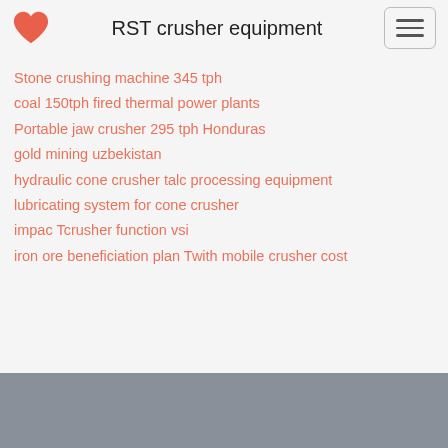RST crusher equipment
Stone crushing machine 345 tph
coal 150tph fired thermal power plants
Portable jaw crusher 295 tph Honduras
gold mining uzbekistan
hydraulic cone crusher talc processing equipment
lubricating system for cone crusher
impac Tcrusher function vsi
iron ore beneficiation plan Twith mobile crusher cost